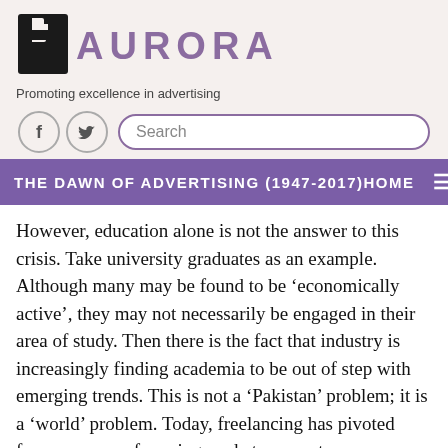AURORA — Promoting excellence in advertising
[Figure (logo): Aurora magazine logo: stylized letter 'a' in black with purple AURORA text]
Promoting excellence in advertising
THE DAWN OF ADVERTISING (1947-2017)    HOME
However, education alone is not the answer to this crisis. Take university graduates as an example. Although many may be found to be ‘economically active’, they may not necessarily be engaged in their area of study. Then there is the fact that industry is increasingly finding academia to be out of step with emerging trends. This is not a ‘Pakistan’ problem; it is a ‘world’ problem. Today, freelancing has pivoted from a means of earning pocket money to a necessary life skill.